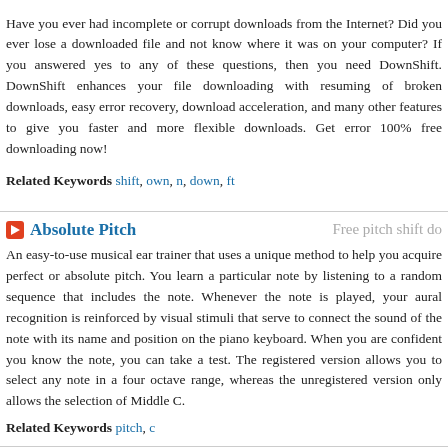Have you ever had incomplete or corrupt downloads from the Internet? Did you ever lose a downloaded file and not know where it was on your computer? If you answered yes to any of these questions, then you need DownShift. DownShift enhances your file downloading with resuming of broken downloads, easy error recovery, download acceleration, and many other features to give you faster and more flexible downloads. Get error 100% free downloading now!
Related Keywords shift, own, n, down, ft
Absolute Pitch
Free pitch shift do
An easy-to-use musical ear trainer that uses a unique method to help you acquire perfect or absolute pitch. You learn a particular note by listening to a random sequence that includes the note. Whenever the note is played, your aural recognition is reinforced by visual stimuli that serve to connect the sound of the note with its name and position on the piano keyboard. When you are confident you know the note, you can take a test. The registered version allows you to select any note in a four octave range, whereas the unregistered version only allows the selection of Middle C.
Related Keywords pitch, c
Shifty
Free pitch shift do
Remember those tile games you used to play as a kid? Where you had to shift the tiles around to recreate the image printed on them.